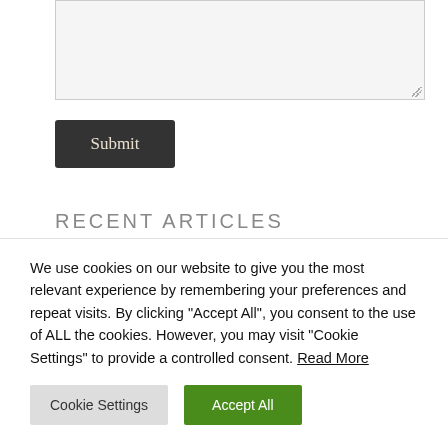[Figure (screenshot): A textarea input box with light gray background and resize handle at bottom-right corner]
Submit
RECENT ARTICLES
Can something text partially visible at top of article listing
We use cookies on our website to give you the most relevant experience by remembering your preferences and repeat visits. By clicking "Accept All", you consent to the use of ALL the cookies. However, you may visit "Cookie Settings" to provide a controlled consent. Read More
Cookie Settings
Accept All